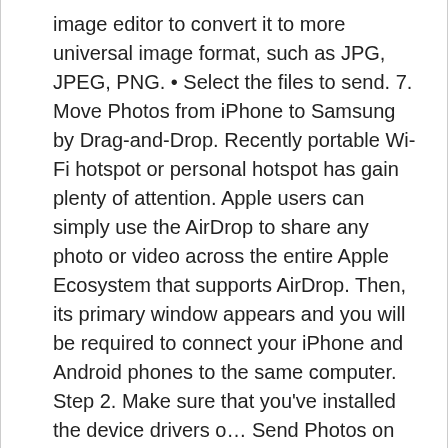image editor to convert it to more universal image format, such as JPG, JPEG, PNG. • Select the files to send. 7. Move Photos from iPhone to Samsung by Drag-and-Drop. Recently portable Wi-Fi hotspot or personal hotspot has gain plenty of attention. Apple users can simply use the AirDrop to share any photo or video across the entire Apple Ecosystem that supports AirDrop. Then, its primary window appears and you will be required to connect your iPhone and Android phones to the same computer. Step 2. Make sure that you've installed the device drivers o… Send Photos on Android Phone Using Photos App. We recommend moving this block and the preceding CSS link to the HEAD of your HTML file. • Open the SHAREit app over both devices • Choose your iPhone, which is your sending device. Method 3: How to Send Photos/Videos from iPhone to Android without